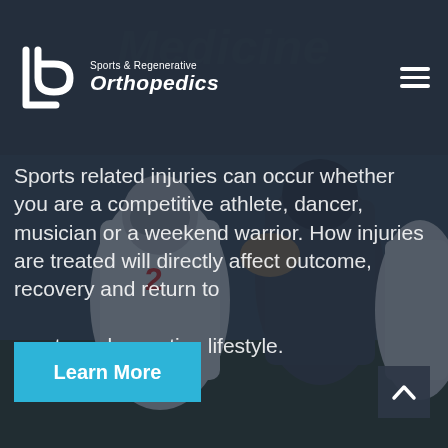[Figure (screenshot): Website screenshot of LP Sports & Regenerative Orthopedics. Dark header with logo on left and hamburger menu on right. Background shows baseball players in a dark-tinted photo. White text overlay describes sports injuries.]
Sports & Regenerative Orthopedics
Medicine
Sports related injuries can occur whether you are a competitive athlete, dancer, musician or a weekend warrior. How injuries are treated will directly affect outcome, recovery and return to sports and an active lifestyle.
Learn More